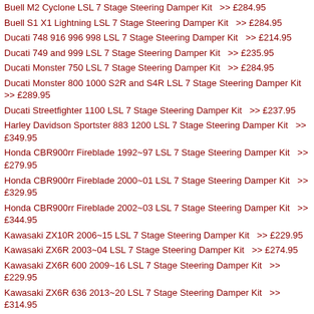Buell M2 Cyclone LSL 7 Stage Steering Damper Kit  >> £284.95
Buell S1 X1 Lightning LSL 7 Stage Steering Damper Kit  >> £284.95
Ducati 748 916 996 998 LSL 7 Stage Steering Damper Kit  >> £214.95
Ducati 749 and 999 LSL 7 Stage Steering Damper Kit  >> £235.95
Ducati Monster 750 LSL 7 Stage Steering Damper Kit  >> £284.95
Ducati Monster 800 1000 S2R and S4R LSL 7 Stage Steering Damper Kit  >> £289.95
Ducati Streetfighter 1100 LSL 7 Stage Steering Damper Kit  >> £237.95
Harley Davidson Sportster 883 1200 LSL 7 Stage Steering Damper Kit  >> £349.95
Honda CBR900rr Fireblade 1992~97 LSL 7 Stage Steering Damper Kit  >> £279.95
Honda CBR900rr Fireblade 2000~01 LSL 7 Stage Steering Damper Kit  >> £329.95
Honda CBR900rr Fireblade 2002~03 LSL 7 Stage Steering Damper Kit  >> £344.95
Kawasaki ZX10R 2006~15 LSL 7 Stage Steering Damper Kit  >> £229.95
Kawasaki ZX6R 2003~04 LSL 7 Stage Steering Damper Kit  >> £274.95
Kawasaki ZX6R 600 2009~16 LSL 7 Stage Steering Damper Kit  >> £229.95
Kawasaki ZX6R 636 2013~20 LSL 7 Stage Steering Damper Kit  >> £314.95